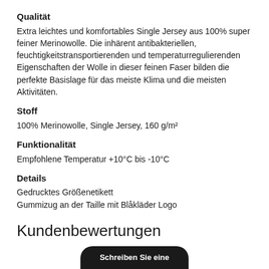Qualität
Extra leichtes und komfortables Single Jersey aus 100% super feiner Merinowolle. Die inhärent antibakteriellen, feuchtigkeitstransportierenden und temperaturregulierenden Eigenschaften der Wolle in dieser feinen Faser bilden die perfekte Basislage für das meiste Klima und die meisten Aktivitäten.
Stoff
100% Merinowolle, Single Jersey, 160 g/m²
Funktionalität
Empfohlene Temperatur +10°C bis -10°C
Details
Gedrucktes Größenetikett
Gummizug an der Taille mit Blåkläder Logo
Kundenbewertungen
Schreiben Sie eine